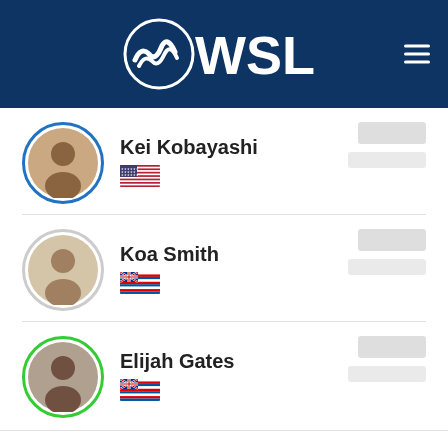[Figure (logo): WSL (World Surf League) logo in white on dark blue header background, with hamburger menu icon on the right]
Kei Kobayashi
[Figure (illustration): US flag emoji]
Koa Smith
[Figure (illustration): Hawaii state flag emoji]
Elijah Gates
[Figure (illustration): Hawaii state flag emoji]
Show all waves ∨
Show final scores
Competition Rules